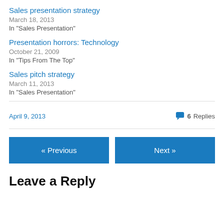Sales presentation strategy
March 18, 2013
In "Sales Presentation"
Presentation horrors: Technology
October 21, 2009
In "Tips From The Top"
Sales pitch strategy
March 11, 2013
In "Sales Presentation"
April 9, 2013    6 Replies
« Previous    Next »
Leave a Reply